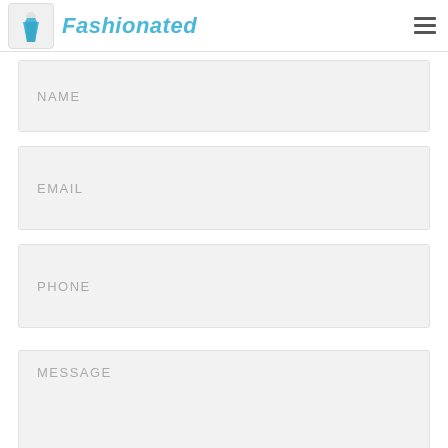Fashionated
NAME
EMAIL
PHONE
MESSAGE